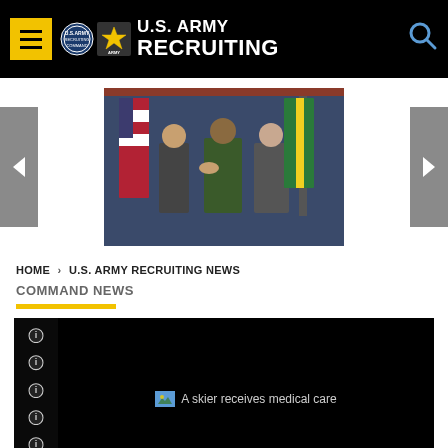U.S. ARMY RECRUITING
[Figure (photo): Carousel image showing a military ceremony with people shaking hands, flags in the background. Left and right navigation arrows flank the image.]
HOME > U.S. ARMY RECRUITING NEWS
COMMAND NEWS
[Figure (photo): Dark content panel with sidebar info icons and a broken image placeholder reading 'A skier receives medical care']